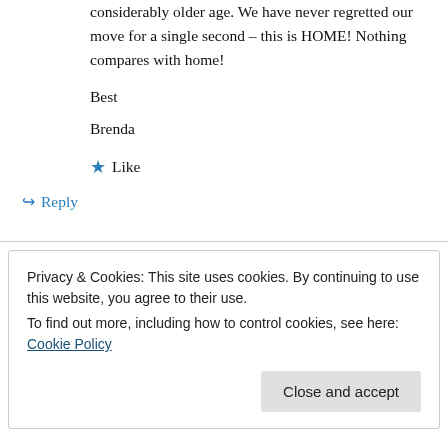considerably older age. We have never regretted our move for a single second – this is HOME! Nothing compares with home!
Best
Brenda
★ Like
↪ Reply
Privacy & Cookies: This site uses cookies. By continuing to use this website, you agree to their use. To find out more, including how to control cookies, see here: Cookie Policy
Close and accept